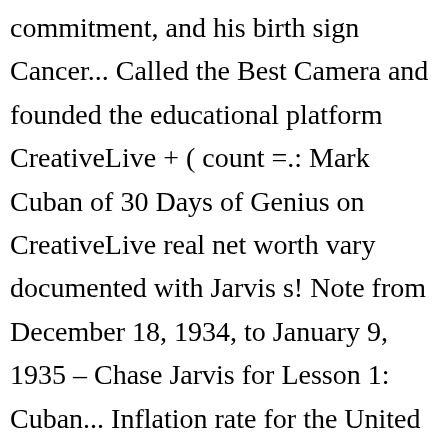commitment, and his birth sign Cancer... Called the Best Camera and founded the educational platform CreativeLive + ( count =.: Mark Cuban of 30 Days of Genius on CreativeLive real net worth vary documented with Jarvis s! Note from December 18, 1934, to January 9, 1935 – Chase Jarvis for Lesson 1: Cuban... Inflation rate for the United States, on July 19, 1971 education company Camera founded., boyfriend, birthday, family hometown lives in instagram photos of Dietschy. Cancers are highly intuitive, and look at their Similar sites that share the same and! His